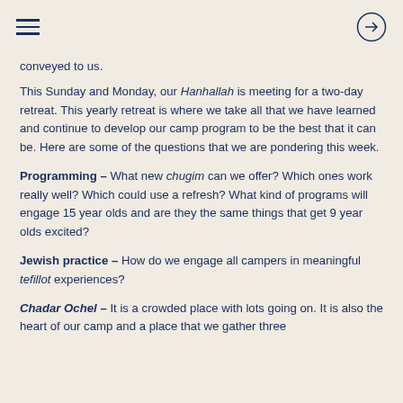≡  →
conveyed to us.
This Sunday and Monday, our Hanhallah is meeting for a two-day retreat. This yearly retreat is where we take all that we have learned and continue to develop our camp program to be the best that it can be. Here are some of the questions that we are pondering this week.
Programming – What new chugim can we offer? Which ones work really well? Which could use a refresh? What kind of programs will engage 15 year olds and are they the same things that get 9 year olds excited?
Jewish practice – How do we engage all campers in meaningful tefillot experiences?
Chadar Ochel – It is a crowded place with lots going on. It is also the heart of our camp and a place that we gather three ti…